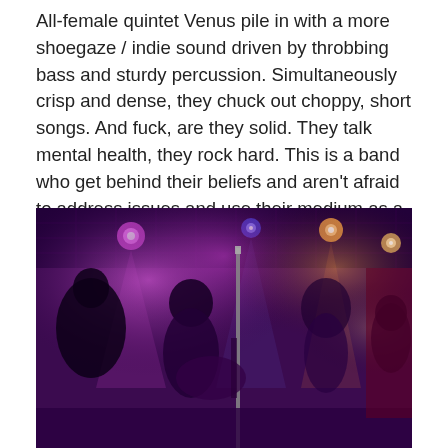All-female quintet Venus pile in with a more shoegaze / indie sound driven by throbbing bass and sturdy percussion. Simultaneously crisp and dense, they chuck out choppy, short songs. And fuck, are they solid. They talk mental health, they rock hard. This is a band who get behind their beliefs and aren't afraid to address issues and use their medium as a platform. They're also as good as any band you'll see around.
[Figure (photo): Live concert photo of a band performing on stage under purple and pink stage lighting. Multiple musicians visible including a guitarist in the foreground and other band members behind. The venue has a dark ceiling with grid panels and stage lights.]